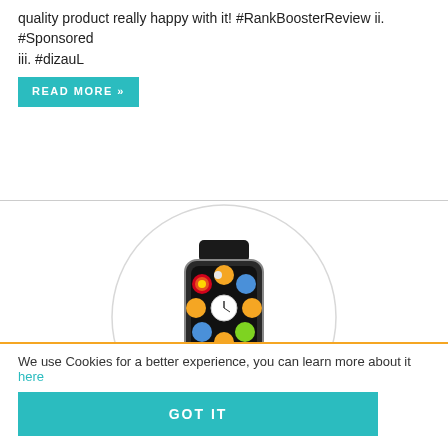quality product really happy with it! #RankBoosterReview ii. #Sponsored iii. #dizauL
READ MORE »
[Figure (photo): A smartwatch displayed inside a large circle, showing a black rectangular watch face with app icons arranged around a clock face.]
Didn't have too many features but does the job
★★★★★ (star rating)
We use Cookies for a better experience, you can learn more about it here
GOT IT